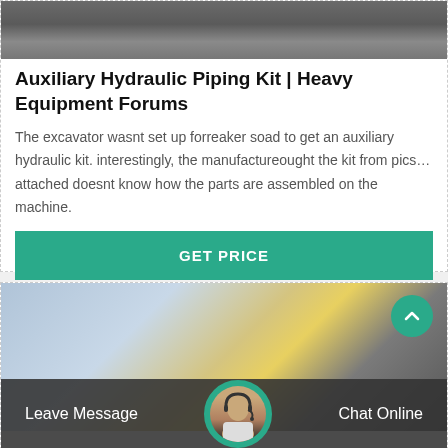[Figure (photo): Top portion of heavy equipment / excavator scene, outdoors]
Auxiliary Hydraulic Piping Kit | Heavy Equipment Forums
The excavator wasnt set up forreaker soad to get an auxiliary hydraulic kit. interestingly, the manufactureought the kit from pics… attached doesnt know how the parts are assembled on the machine.
GET PRICE
[Figure (photo): Heavy construction equipment – yellow machine and crane/gantry structure against sky]
Leave Message
Chat Online